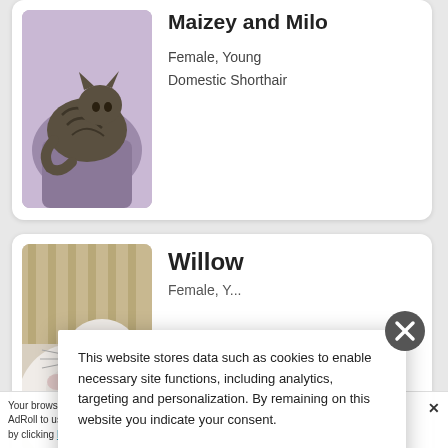[Figure (photo): Card showing two cats curled together on a chair. Name partially visible at top: 'Maizey and Milo'. Details: Female, Young, Domestic Shorthair.]
Maizey and Milo
Female, Young
Domestic Shorthair
[Figure (photo): Card showing a close-up of a white cat's face/paw. Name: Willow. Details partially obscured.]
Willow
Female, Y...
This website stores data such as cookies to enable necessary site functions, including analytics, targeting and personalization. By remaining on this website you indicate your consent.
Cookie Policy
Your browser settings currently prevent us from showing you a personalized ad experience from AdRoll to use cross-site tracking. You may still see non-personalized ads from AdRoll by clicking here. This message only appears once.